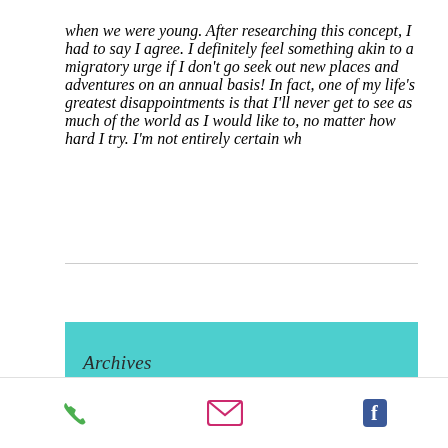when we were young. After researching this concept, I had to say I agree. I definitely feel something akin to a migratory urge if I don't go seek out new places and adventures on an annual basis! In fact, one of my life's greatest disappointments is that I'll never get to see as much of the world as I would like to, no matter how hard I try. I'm not entirely certain wh
[Figure (screenshot): Mobile app bottom navigation bar with phone, email, and Facebook icons; teal archive section header partially visible above]